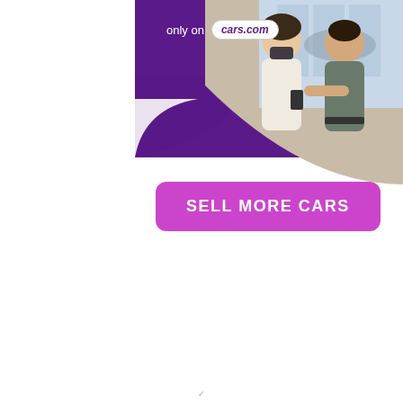[Figure (photo): Advertisement banner for cars.com showing two people at a car dealership, a woman wearing a face mask and a man in a gray shirt, looking at a device together. Purple background with cars.com logo at top, and a bright magenta 'SELL MORE CARS' call-to-action button.]
only on cars.com
SELL MORE CARS